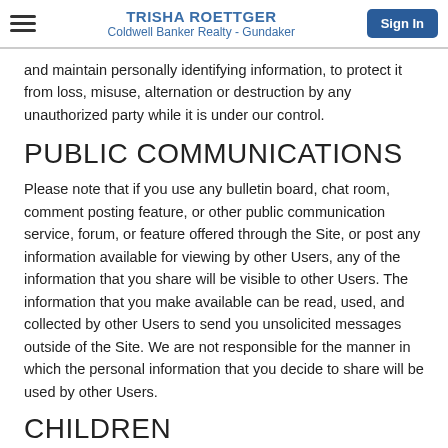TRISHA ROETTGER | Coldwell Banker Realty - Gundaker
and maintain personally identifying information, to protect it from loss, misuse, alternation or destruction by any unauthorized party while it is under our control.
PUBLIC COMMUNICATIONS
Please note that if you use any bulletin board, chat room, comment posting feature, or other public communication service, forum, or feature offered through the Site, or post any information available for viewing by other Users, any of the information that you share will be visible to other Users. The information that you make available can be read, used, and collected by other Users to send you unsolicited messages outside of the Site. We are not responsible for the manner in which the personal information that you decide to share will be used by other Users.
CHILDREN